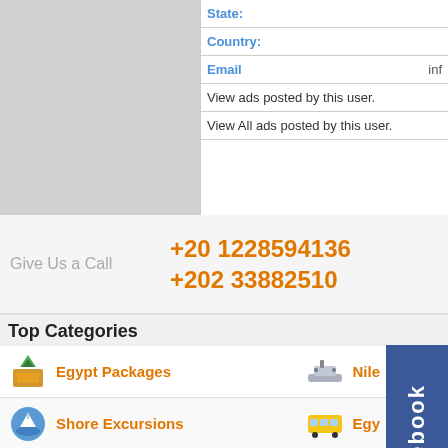[Figure (screenshot): Top left gray box (partial user profile image area)]
| State: |  |
| Country: |  |
| Email | inf… |
| View ads posted by this user. |  |
| View All ads posted by this user. |  |
Give Us a Call
+20 1228594136
+202 33882510
Top Categories
Egypt Packages
Nile
Shore Excursions
Egy…
[Figure (logo): Facebook badge on right side]
Trip Advisor
The Air Transport Association
Log In
My shopping cart
Register
My Order History
My Account
My Saved List
My Purchase
My Listed Offers
About
About Us    egypttravel.cc blog